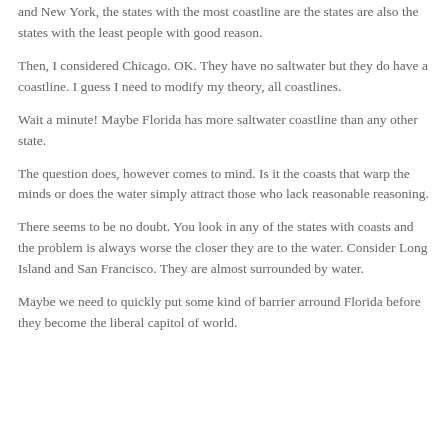and New York, the states with the most coastline are the states are also the states with the least people with good reason.
Then, I considered Chicago. OK. They have no saltwater but they do have a coastline. I guess I need to modify my theory, all coastlines.
Wait a minute! Maybe Florida has more saltwater coastline than any other state.
The question does, however comes to mind. Is it the coasts that warp the minds or does the water simply attract those who lack reasonable reasoning.
There seems to be no doubt. You look in any of the states with coasts and the problem is always worse the closer they are to the water. Consider Long Island and San Francisco. They are almost surrounded by water.
Maybe we need to quickly put some kind of barrier arround Florida before they become the liberal capitol of world.